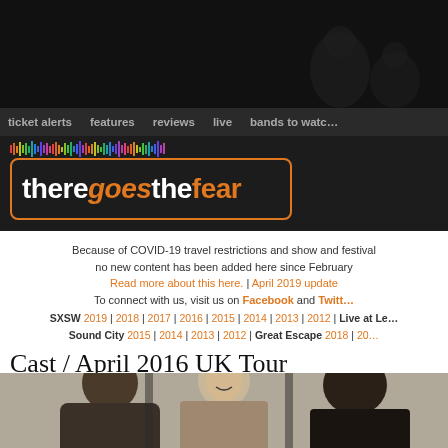[Figure (screenshot): Black header background with dark background image showing people silhouettes]
ticket alerts   features   reviews   live   bands to watch
[Figure (logo): theregoesthefear logo with orange border box, colorful waveform above, 'goes' in orange italic]
Because of COVID-19 travel restrictions and show and festival cancellations, no new content has been added here since February
Read more about this here. | April 2019 update
To connect with us, visit us on Facebook and Twitter
SXSW 2019 | 2018 | 2017 | 2016 | 2015 | 2014 | 2013 | 2012 | Live at Le... Sound City 2015 | 2014 | 2013 | 2012 | Great Escape 2018 | 20...
Cast / April 2016 UK Tour
[Figure (photo): Three men smiling, one with long hair and beard on right, photo likely of the band Cast]